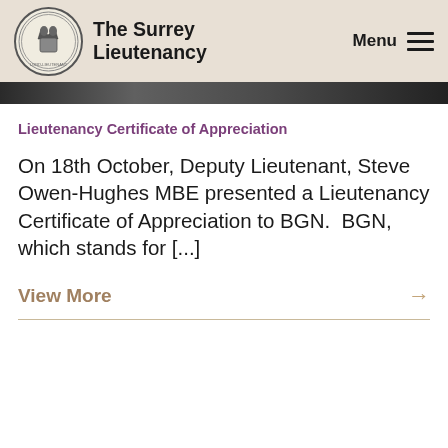The Surrey Lieutenancy
[Figure (photo): Dark photo strip, partial image visible at top of content area]
Lieutenancy Certificate of Appreciation
On 18th October, Deputy Lieutenant, Steve Owen-Hughes MBE presented a Lieutenancy Certificate of Appreciation to BGN.  BGN, which stands for [...]
View More →